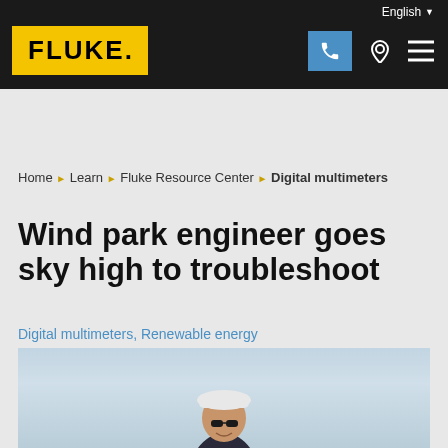English
[Figure (logo): Fluke logo — yellow background with bold black FLUKE. text]
Home ▶ Learn ▶ Fluke Resource Center ▶ Digital multimeters
Wind park engineer goes sky high to troubleshoot
Digital multimeters, Renewable energy
[Figure (photo): A wind park engineer wearing a white hard hat and sunglasses smiling outdoors against a light sky background]